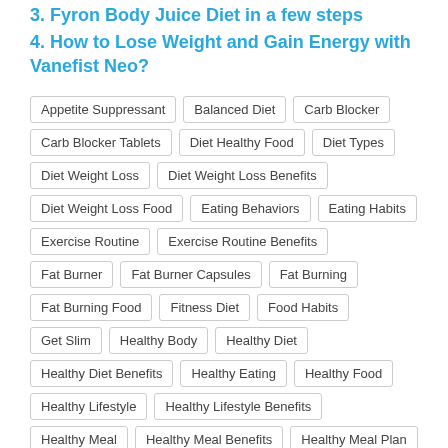3. Fyron Body Juice Diet in a few steps
4. How to Lose Weight and Gain Energy with Vanefist Neo?
Appetite Suppressant | Balanced Diet | Carb Blocker | Carb Blocker Tablets | Diet Healthy Food | Diet Types | Diet Weight Loss | Diet Weight Loss Benefits | Diet Weight Loss Food | Eating Behaviors | Eating Habits | Exercise Routine | Exercise Routine Benefits | Fat Burner | Fat Burner Capsules | Fat Burning | Fat Burning Food | Fitness Diet | Food Habits | Get Slim | Healthy Body | Healthy Diet | Healthy Diet Benefits | Healthy Eating | Healthy Food | Healthy Lifestyle | Healthy Lifestyle Benefits | Healthy Meal | Healthy Meal Benefits | Healthy Meal Plan